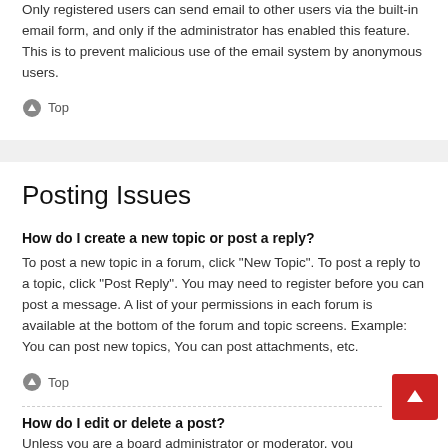Only registered users can send email to other users via the built-in email form, and only if the administrator has enabled this feature. This is to prevent malicious use of the email system by anonymous users.
Top
Posting Issues
How do I create a new topic or post a reply?
To post a new topic in a forum, click "New Topic". To post a reply to a topic, click "Post Reply". You may need to register before you can post a message. A list of your permissions in each forum is available at the bottom of the forum and topic screens. Example: You can post new topics, You can post attachments, etc.
Top
How do I edit or delete a post?
Unless you are a board administrator or moderator, you